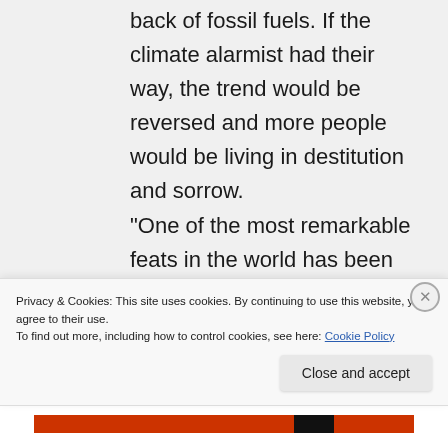back of fossil fuels. If the climate alarmist had their way, the trend would be reversed and more people would be living in destitution and sorrow. “One of the most remarkable feats in the world has been
Privacy & Cookies: This site uses cookies. By continuing to use this website, you agree to their use.
To find out more, including how to control cookies, see here: Cookie Policy